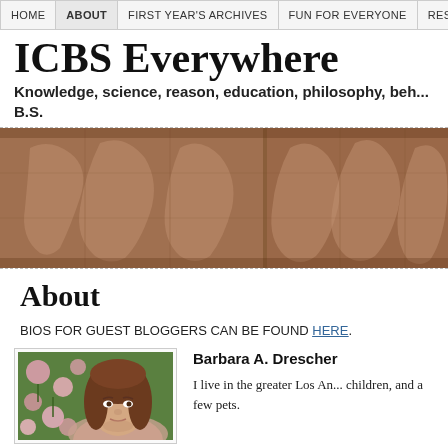HOME | ABOUT | FIRST YEAR'S ARCHIVES | FUN FOR EVERYONE | RESOURCES | M
ICBS Everywhere
Knowledge, science, reason, education, philosophy, beh... B.S.
[Figure (photo): Repeated relief sculpture images showing carved stone figures, displayed in a horizontal strip banner]
About
BIOS FOR GUEST BLOGGERS CAN BE FOUND HERE.
[Figure (photo): Portrait photo of a woman with brown hair against a background of pink flowers and green foliage]
Barbara A. Drescher
I live in the greater Los An... children, and a few pets.